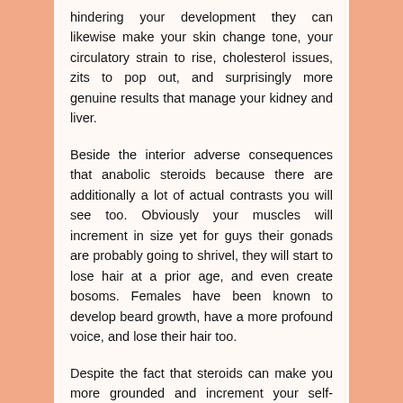hindering your development they can likewise make your skin change tone, your circulatory strain to rise, cholesterol issues, zits to pop out, and surprisingly more genuine results that manage your kidney and liver.
Beside the interior adverse consequences that anabolic steroids because there are additionally a lot of actual contrasts you will see too. Obviously your muscles will increment in size yet for guys their gonads are probably going to shrivel, they will start to lose hair at a prior age, and even create bosoms. Females have been known to develop beard growth, have a more profound voice, and lose their hair too.
Despite the fact that steroids can make you more grounded and increment your self-assurance for a brief timeframe, they have negative conduct impacts too. Steroid victimizers have been known to go through significant emotional episodes and can drive an ordinary glad individual mad and savage. This happens on the grounds that the medications influence the limbic framework in our cerebrums. At the point when this happens individuals have answered to have